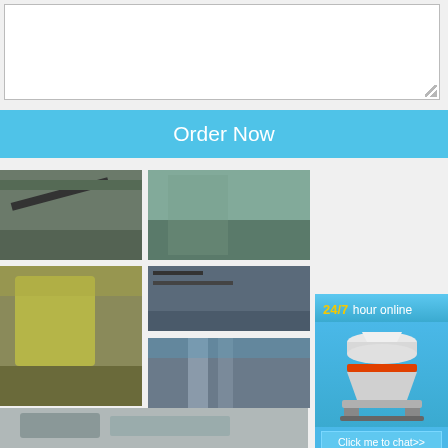[Figure (other): Empty text area input box with resize handle]
Order Now
[Figure (photo): Photo collage of industrial/mining crushing equipment and facilities showing conveyors, crushers, and industrial structures]
APK: Specifications – Hazemag North America
12 · The HAZEMAG APK Series Secondary ... is ideally suited to crush medium-hard materia... ly cubical, well graded product size of 0 – 3 in... 1 inch) in a single pass.. This machine is nor... h an
Read More
[Figure (infographic): Blue sidebar advertisement panel with '24/7 hour online' text, image of cone crusher machine, 'Click me to chat>>' button, 'Enquiry' section, and 'limingjlmofen' brand text]
[Figure (photo): Bottom strip photo of industrial crushing equipment]